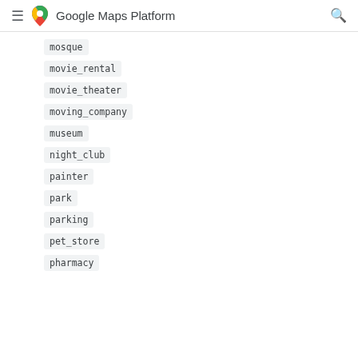Google Maps Platform
mosque
movie_rental
movie_theater
moving_company
museum
night_club
painter
park
parking
pet_store
pharmacy